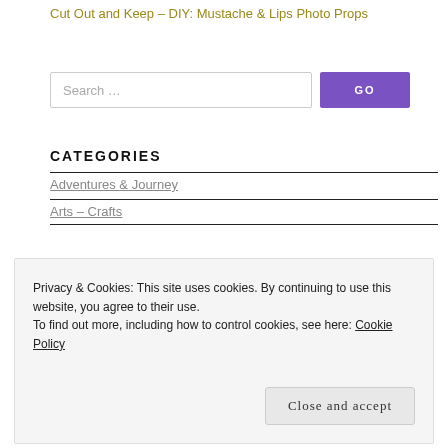Cut Out and Keep – DIY: Mustache & Lips Photo Props
Search ...
CATEGORIES
Adventures & Journey
Arts – Crafts
Privacy & Cookies: This site uses cookies. By continuing to use this website, you agree to their use.
To find out more, including how to control cookies, see here: Cookie Policy